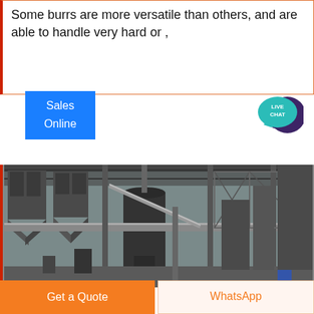Some burrs are more versatile than others, and are able to handle very hard or ,
[Figure (screenshot): Blue 'Sales Online' button widget with a teal speech bubble 'LIVE CHAT' icon on the right]
[Figure (photo): Industrial factory interior with large metal machinery, pipes, silos, and structural steel framework]
Get a Quote
WhatsApp